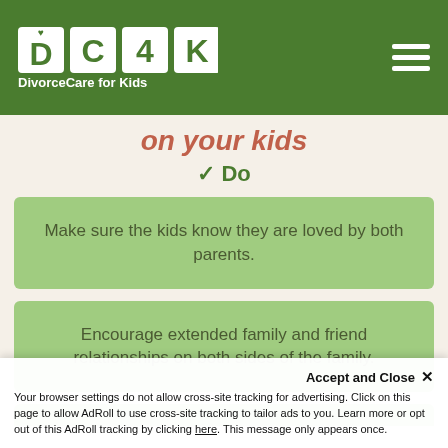[Figure (logo): DC4K DivorceCare for Kids logo in green header with hamburger menu icon]
on your kids
✓ Do
Make sure the kids know they are loved by both parents.
Encourage extended family and friend relationships on both sides of the family.
Accept and Close ✕ Your browser settings do not allow cross-site tracking for advertising. Click on this page to allow AdRoll to use cross-site tracking to tailor ads to you. Learn more or opt out of this AdRoll tracking by clicking here. This message only appears once.